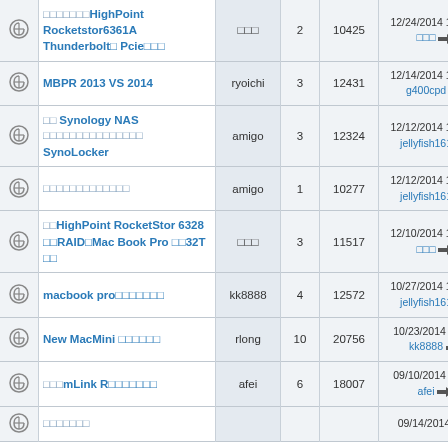|  | Topic | Author | Replies | Views | Last Post |
| --- | --- | --- | --- | --- | --- |
|  | □□□□□□□HighPoint Rocketstor6361A Thunderbolt□ Pcie□□□ | □□□ | 2 | 10425 | 12/24/2014 11:49 am □□□ →□ |
|  | MBPR 2013 VS 2014 | ryoichi | 3 | 12431 | 12/14/2014 10:09 pm g400cpd →□ |
|  | □□ Synology NAS □□□□□□□□□□□□□□□ SynoLocker | amigo | 3 | 12324 | 12/12/2014 10:51 am jellyfish161 →□ |
|  | □□□□□□□□□□□□□ | amigo | 1 | 10277 | 12/12/2014 10:50 am jellyfish161 →□ |
|  | □□HighPoint RocketStor 6328 □□RAID□Mac Book Pro □□32T □□ | □□□ | 3 | 11517 | 12/10/2014 10:42 am □□□ →□ |
|  | macbook pro□□□□□□□ | kk8888 | 4 | 12572 | 10/27/2014 11:01 am jellyfish161 →□ |
|  | New MacMini □□□□□□ | rlong | 10 | 20756 | 10/23/2014 4:06 pm kk8888 →□ |
|  | □□□mLink R□□□□□□□ | afei | 6 | 18007 | 09/10/2014 4:00 am afei →□ |
|  | □□□□□□□ |  |  |  | 09/14/2014 5:14... |